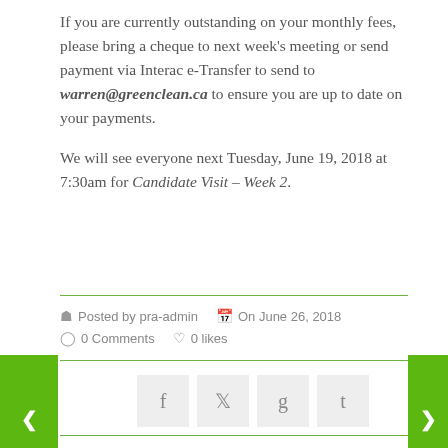If you are currently outstanding on your monthly fees, please bring a cheque to next week's meeting or send payment via Interac e-Transfer to send to warren@greenclean.ca to ensure you are up to date on your payments.
We will see everyone next Tuesday, June 19, 2018 at 7:30am for Candidate Visit – Week 2.
Posted by pra-admin  On June 26, 2018  0 Comments  0 likes
[Figure (other): Social sharing buttons: Facebook (f), Twitter (bird icon), Google+ (g), Tumblr (t)]